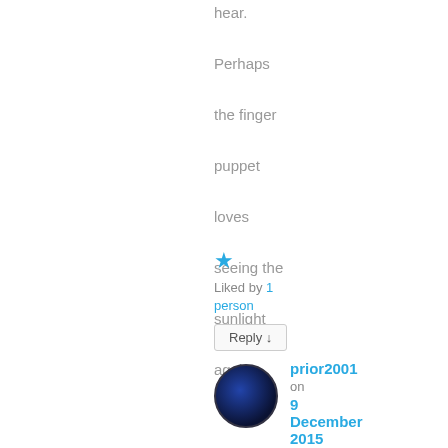hear. Perhaps the finger puppet loves seeing the sunlight again!
★ Liked by 1 person
Reply ↓
prior2001 on 9 December 2015